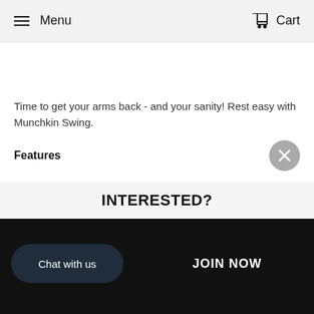Menu   Cart
Time to get your arms back - and your sanity! Rest easy with Munchkin Swing.
Features
INTERESTED?
Chat with us
JOIN NOW